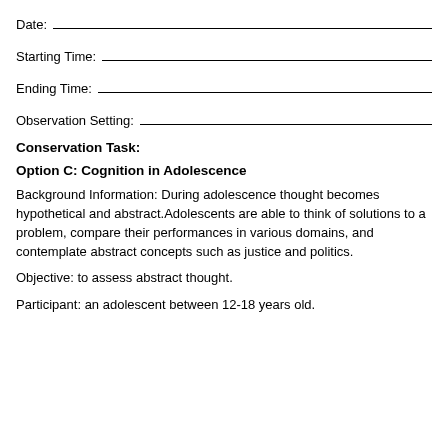Date: ___________________________________
Starting Time: ___________________________________
Ending Time: ___________________________________
Observation Setting: ___________________________________
Conservation Task:
Option C: Cognition in Adolescence
Background Information: During adolescence thought becomes hypothetical and abstract. Adolescents are able to think of solutions to a problem, compare their performances in various domains, and contemplate abstract concepts such as justice and politics.
Objective: to assess abstract thought.
Participant: an adolescent between 12-18 years old.